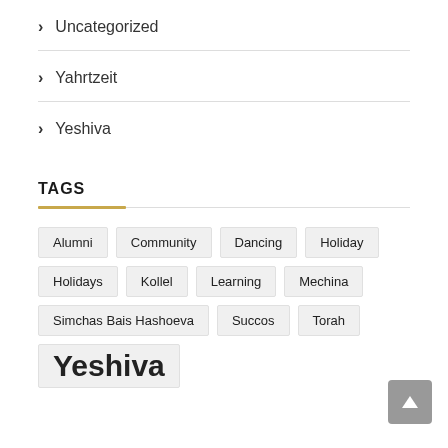Uncategorized
Yahrtzeit
Yeshiva
TAGS
Alumni Community Dancing Holiday Holidays Kollel Learning Mechina Simchas Bais Hashoeva Succos Torah Yeshiva